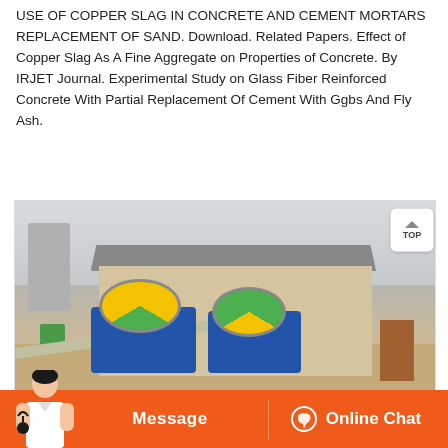USE OF COPPER SLAG IN CONCRETE AND CEMENT MORTARS REPLACEMENT OF SAND. Download. Related Papers. Effect of Copper Slag As A Fine Aggregate on Properties of Concrete. By IRJET Journal. Experimental Study on Glass Fiber Reinforced Concrete With Partial Replacement Of Cement With Ggbs And Fly Ash.
[Figure (photo): Industrial facility showing sand washing or mineral processing machines with blue bases and yellow/green wheel mechanisms, conveyor belts, shed structure, and silo in the background on a sandy ground.]
[Figure (other): Bottom orange banner with customer service avatar, Message button on left and Online Chat button on right with chat icon.]